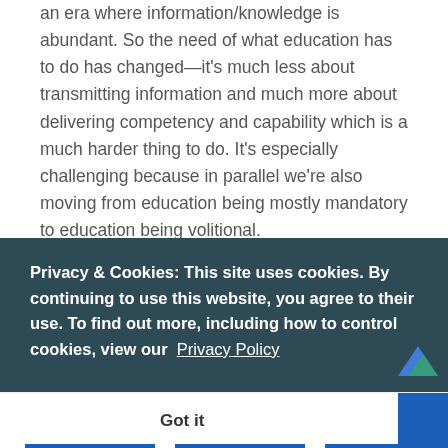an era where information/knowledge is abundant. So the need of what education has to do has changed—it's much less about transmitting information and much more about delivering competency and capability which is a much harder thing to do. It's especially challenging because in parallel we're also moving from education being mostly mandatory to education being volitional. Danny talks about how this idea of choice is great for [text continues] d [text continues] t's [text continues] at
Privacy & Cookies: This site uses cookies. By continuing to use this website, you agree to their use. To find out more, including how to control cookies, view our Privacy Policy
Got it